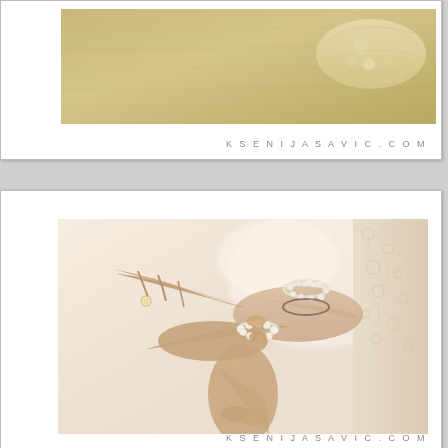[Figure (photo): Top portion of a wedding photo showing lace fabric detail on a warm golden/cream background, with watermark KSENIJASAVIC.COM]
[Figure (photo): Wedding preparation photo showing two pairs of hands clasping a pearl bracelet on a bride's wrist. The bride wears a lace dress and multiple pearl bracelets. Warm sepia tones. Watermark KSENIJASAVIC.COM visible at bottom.]